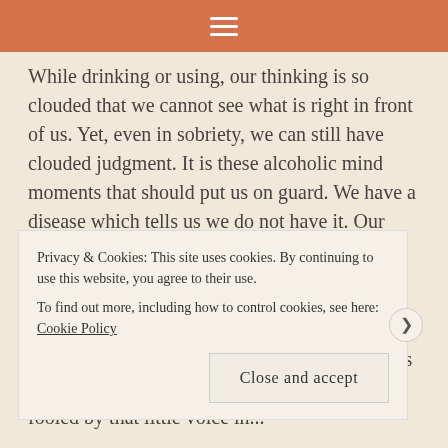≡
While drinking or using, our thinking is so clouded that we cannot see what is right in front of us. Yet, even in sobriety, we can still have clouded judgment. It is these alcoholic mind moments that should put us on guard. We have a disease which tells us we do not have it. Our minds play tricks on us in ways that non-alcoholics do not experience.
I have a clarity these days that I have not had in what seems like ages. The sky is bluer, the air is cleaner, and the moon shines brighter. I am not fooled by that little voice in...
Privacy & Cookies: This site uses cookies. By continuing to use this website, you agree to their use.
To find out more, including how to control cookies, see here: Cookie Policy
Close and accept